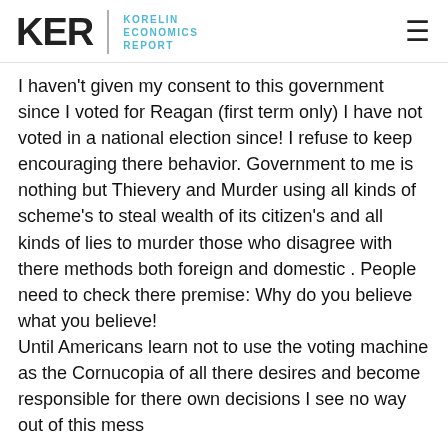KER | KORELIN ECONOMICS REPORT
I haven't given my consent to this government since I voted for Reagan (first term only) I have not voted in a national election since! I refuse to keep encouraging there behavior. Government to me is nothing but Thievery and Murder using all kinds of scheme's to steal wealth of its citizen's and all kinds of lies to murder those who disagree with there methods both foreign and domestic . People need to check there premise: Why do you believe what you believe!
Until Americans learn not to use the voting machine as the Cornucopia of all there desires and become responsible for there own decisions I see no way out of this mess
Bob b...